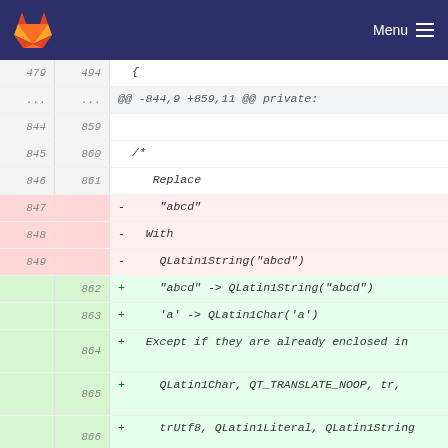GitLab — Menu
Diff view showing code changes for WrapStringLiteral class replacing string literals with QLatin1String
| old | new | content |
| --- | --- | --- |
| 479 | 494 | { |
| ... | ... | @@ -844,9 +859,11 @@ private: |
| 844 | 859 |  |
| 845 | 860 | /* |
| 846 | 861 |    Replace |
| 847 |  | - "abcd" |
| 848 |  | - With |
| 849 |  | - QLatin1String("abcd") |
|  | 862 | + "abcd" -> QLatin1String("abcd") |
|  | 863 | + 'a' -> QLatin1Char('a') |
|  | 864 | + Except if they are already enclosed in |
|  | 865 | + QLatin1Char, QT_TRANSLATE_NOOP, tr, |
|  | 866 | + trUtf8, QLatin1Literal, QLatin1String |
| 850 | 867 | */ |
| 851 | 868 | class WrapStringLiteral: public CppQuickFixFactory |
| 852 | 869 | { |